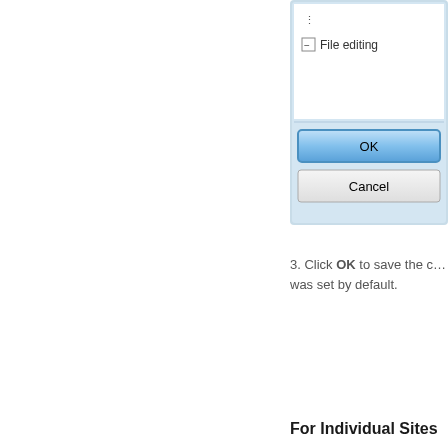[Figure (screenshot): Windows dialog box showing a tree with 'File editing' item and an OK button (highlighted in blue) and a Cancel button]
3. Click OK to save the c... was set by default.
For Individual Sites
1. Choose Site Manager...
[Figure (screenshot): FileZilla application window showing File menu open with items: Site Manager..., Copy current conn..., New tab, Close tab, Export..., Import]